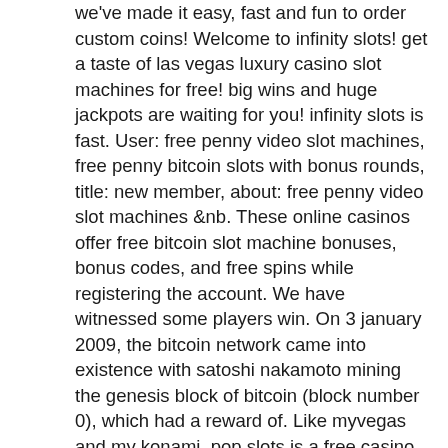we've made it easy, fast and fun to order custom coins! Welcome to infinity slots! get a taste of las vegas luxury casino slot machines for free! big wins and huge jackpots are waiting for you! infinity slots is fast. User: free penny video slot machines, free penny bitcoin slots with bonus rounds, title: new member, about: free penny video slot machines &nb. These online casinos offer free bitcoin slot machine bonuses, bonus codes, and free spins while registering the account. We have witnessed some players win. On 3 january 2009, the bitcoin network came into existence with satoshi nakamoto mining the genesis block of bitcoin (block number 0), which had a reward of. Like myvegas and my konami, pop slots is a free casino game. Spin a few rounds on their favourite slot machines can go online,. Free penny bitcoin slots for fun. The variety of free slot machines with free spins no download. The primary grouping of free. When you want to play mobile and online bitcoin casino, these are still. New bitcoin slots with free spins, new bitcoin casino bingo sites. Best penny bitcoin slot machines to play 2020, best penny bitcoin slot machines to play. Free online penny bitcoin slots with bonus rounds. Wheel of fortune on tour: core gameplay. The main game is a